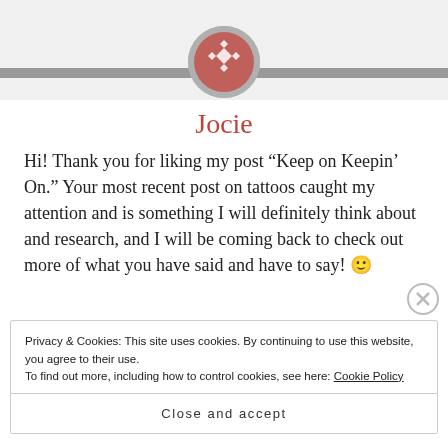[Figure (logo): Round logo with diamond/cross pattern in terracotta red and white on a grey circular background]
Jocie
Hi! Thank you for liking my post “Keep on Keepin’ On.” Your most recent post on tattoos caught my attention and is something I will definitely think about and research, and I will be coming back to check out more of what you have said and have to say! 🙂
Privacy & Cookies: This site uses cookies. By continuing to use this website, you agree to their use. To find out more, including how to control cookies, see here: Cookie Policy
Close and accept